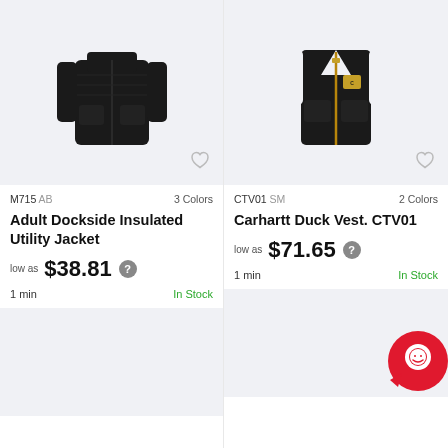[Figure (photo): Black Adult Dockside Insulated Utility Jacket product photo on light gray background]
M715 AB   3 Colors
Adult Dockside Insulated Utility Jacket
low as $38.81
1 min   In Stock
[Figure (photo): Black Carhartt Duck Vest product photo on light gray background]
CTV01 SM   2 Colors
Carhartt Duck Vest. CTV01
low as $71.65
1 min   In Stock
[Figure (photo): Partial product image at bottom left, cut off]
[Figure (photo): Partial product image at bottom right with red chat support button overlay]